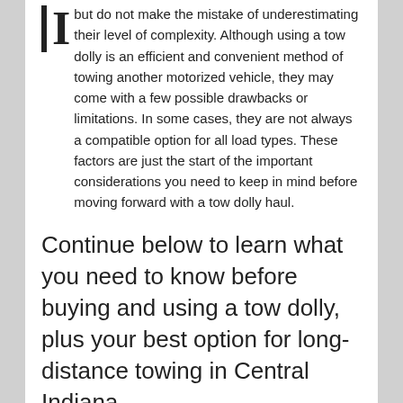but do not make the mistake of underestimating their level of complexity. Although using a tow dolly is an efficient and convenient method of towing another motorized vehicle, they may come with a few possible drawbacks or limitations. In some cases, they are not always a compatible option for all load types. These factors are just the start of the important considerations you need to keep in mind before moving forward with a tow dolly haul.
Continue below to learn what you need to know before buying and using a tow dolly, plus your best option for long-distance towing in Central Indiana.
[Figure (photo): Photo showing towing equipment including a red warning triangle and a metal hook/carabiner on a yellow background]